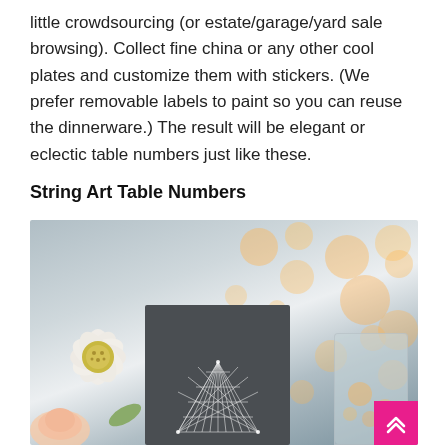little crowdsourcing (or estate/garage/yard sale browsing). Collect fine china or any other cool plates and customize them with stickers. (We prefer removable labels to paint so you can reuse the dinnerware.) The result will be elegant or eclectic table numbers just like these.
String Art Table Numbers
[Figure (photo): A wedding table centerpiece featuring white flowers on the left, a dark gray wooden board with white string art in the center, and a glass jar on the right, with warm bokeh lights in the background.]